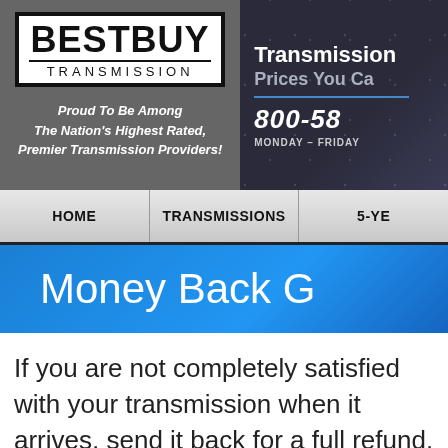[Figure (logo): BestBuy Transmission logo — black bordered box with BESTBUY in large black text and TRANSMISSION below in spaced letters]
Proud To Be Among The Nation's Highest Rated, Premier Transmission Providers!
[Figure (infographic): Dark background with stars showing company contact info: Transmission [heading], Prices You Ca[n't Beat], 800-58[x-xxxx], MONDAY - FRIDAY [hours]]
HOME | TRANSMISSIONS | 5-YE[AR WARRANTY]
Money Back G[uarantee]
If you are not completely satisfied with your transmission when it arrives, send it back for a full refund.
Our BEFORE is the functional and visual equivalent of